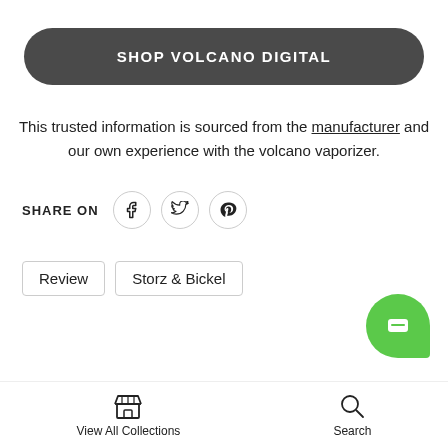SHOP VOLCANO DIGITAL
This trusted information is sourced from the manufacturer and our own experience with the volcano vaporizer.
SHARE ON
Review
Storz & Bickel
View All Collections   Search